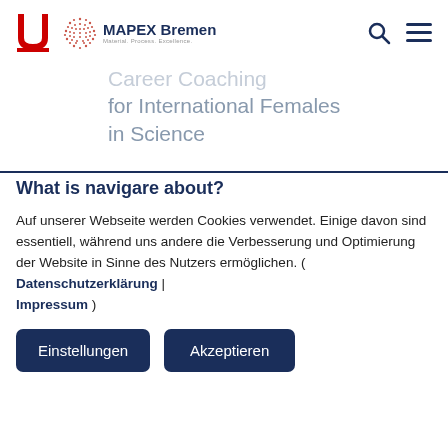University of Bremen / MAPEX Bremen — Material. Process. Excellence.
Career Coaching for International Females in Science
What is navigare about?
Auf unserer Webseite werden Cookies verwendet. Einige davon sind essentiell, während uns andere die Verbesserung und Optimierung der Website in Sinne des Nutzers ermöglichen. ( Datenschutzerklärung | Impressum )
Einstellungen | Akzeptieren